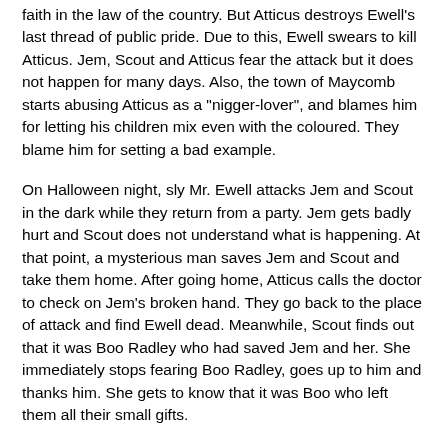faith in the law of the country. But Atticus destroys Ewell's last thread of public pride. Due to this, Ewell swears to kill Atticus. Jem, Scout and Atticus fear the attack but it does not happen for many days. Also, the town of Maycomb starts abusing Atticus as a "nigger-lover", and blames him for letting his children mix even with the coloured. They blame him for setting a bad example.
On Halloween night, sly Mr. Ewell attacks Jem and Scout in the dark while they return from a party. Jem gets badly hurt and Scout does not understand what is happening. At that point, a mysterious man saves Jem and Scout and take them home. After going home, Atticus calls the doctor to check on Jem's broken hand. They go back to the place of attack and find Ewell dead. Meanwhile, Scout finds out that it was Boo Radley who had saved Jem and her. She immediately stops fearing Boo Radley, goes up to him and thanks him. She gets to know that it was Boo who left them all their small gifts.
Atticus is under the assumption that Jem killed Ewell, while Atticus's friend Mr. Tate believes Boo did it. But finally, they conclude that Ewell fell on his own knife and killed himself: like